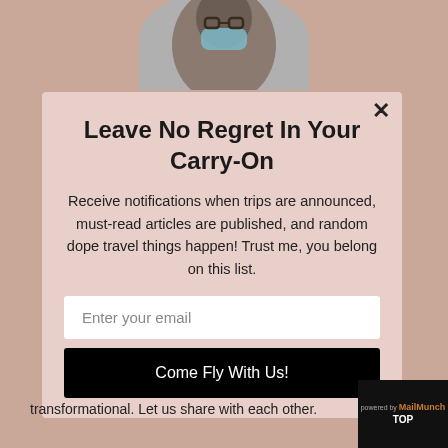[Figure (photo): Circular cropped photo of a person wearing a blue face mask, visible from shoulders up, against a light background.]
Leave No Regret In Your Carry-On
Receive notifications when trips are announced, must-read articles are published, and random dope travel things happen! Trust me, you belong on this list.
Enter your email
Come Fly With Us!
transformational. Let us share with each other.
powered by MailMunch TOP